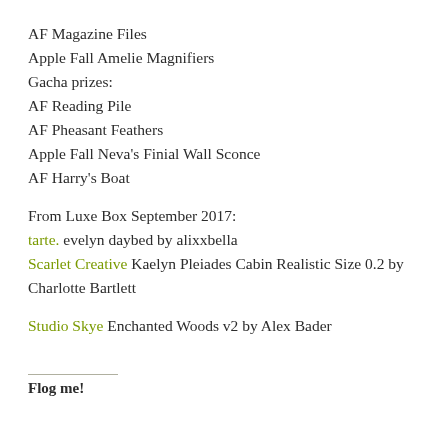AF Magazine Files
Apple Fall Amelie Magnifiers
Gacha prizes:
AF Reading Pile
AF Pheasant Feathers
Apple Fall Neva's Finial Wall Sconce
AF Harry's Boat
From Luxe Box September 2017:
tarte. evelyn daybed by alixxbella
Scarlet Creative Kaelyn Pleiades Cabin Realistic Size 0.2 by Charlotte Bartlett
Studio Skye Enchanted Woods v2 by Alex Bader
Flog me!